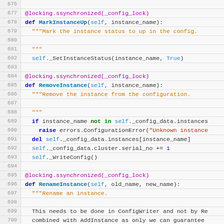[Figure (screenshot): Python source code viewer showing lines 676-701 with syntax highlighting. Functions include MarkInstanceUp, RemoveInstance, and RenameInstance with decorators, docstrings, and method body statements.]